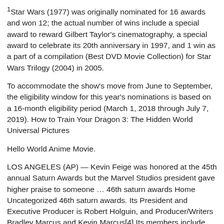1Star Wars (1977) was originally nominated for 16 awards and won 12; the actual number of wins include a special award to reward Gilbert Taylor's cinematography, a special award to celebrate its 20th anniversary in 1997, and 1 win as a part of a compilation (Best DVD Movie Collection) for Star Wars Trilogy (2004) in 2005.
To accommodate the show's move from June to September, the eligibility window for this year's nominations is based on a 16-month eligibility period (March 1, 2018 through July 7, 2019). How to Train Your Dragon 3: The Hidden World Universal Pictures
Hello World Anime Movie.
LOS ANGELES (AP) — Kevin Feige was honored at the 45th annual Saturn Awards but the Marvel Studios president gave higher praise to someone ... 46th saturn awards Home Uncategorized 46th saturn awards. Its President and Executive Producer is Robert Holguin, and Producer/Writers Bradley Marcus and Kevin Marcus[4] Its members include filmmakers || Abrams, Bryan